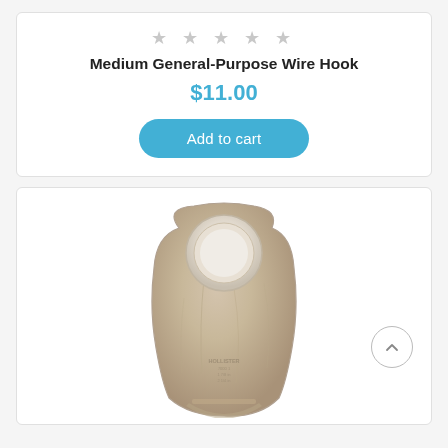★ ★ ★ ★ ★
Medium General-Purpose Wire Hook
$11.00
Add to cart
[Figure (photo): Hollister ostomy pouch/bag, beige/tan colored, with a round white opening at the top, product label text visible at bottom reading HOLLISTER]